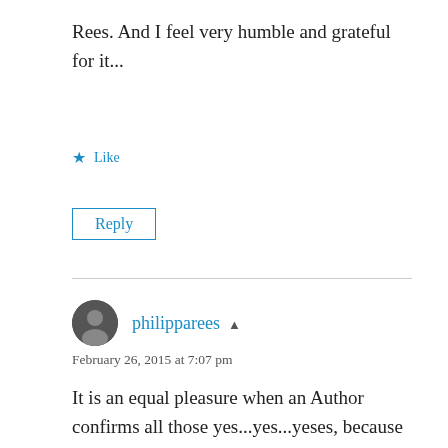Rees. And I feel very humble and grateful for it...
Like
Reply
philipparees
February 26, 2015 at 7:07 pm
It is an equal pleasure when an Author confirms all those yes...yes...yeses, because an equal trepidation in a reviewer ( knowing the labour a book has required) is whether they have really 'got' what the author hoped they